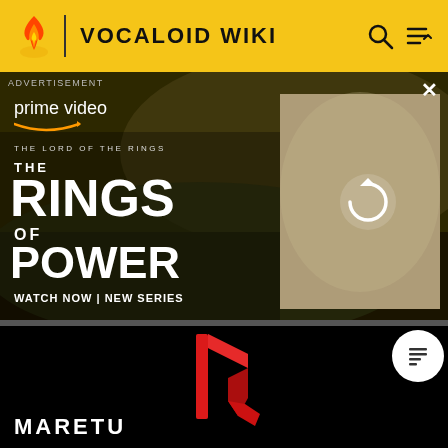VOCALOID WIKI
[Figure (screenshot): Amazon Prime Video advertisement for 'The Lord of the Rings: The Rings of Power' showing two characters in a field on the left panel and a blonde woman with others in a lighter panel on the right, with a refresh/loading icon overlay. Text reads: ADVERTISEMENT, prime video, THE LORD OF THE RINGS, THE RINGS OF POWER, WATCH NOW | NEW SERIES. A close (X) button appears in the top right.]
[Figure (screenshot): Black background video thumbnail showing a red glowing angular symbol/logo (Maretu artist logo) in the center. A white circular button with a document/list icon appears in the top right. Text 'MARETU' appears in bold white at the bottom left.]